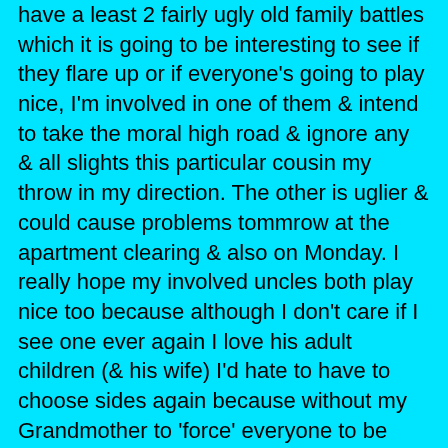have a least 2 fairly ugly old family battles which it is going to be interesting to see if they flare up or if everyone's going to play nice, I'm involved in one of them & intend to take the moral high road & ignore any & all slights this particular cousin my throw in my direction. The other is uglier & could cause problems tommrow at the apartment clearing & also on Monday. I really hope my involved uncles both play nice too because although I don't care if I see one ever again I love his adult children (& his wife) I'd hate to have to choose sides again because without my Grandmother to 'force' everyone to be nice & be there for one annother the 2 warring factions will probably never speak again.
Doing this seemed kind of frivolus tonight but my mother was tired & went to bed at 930, the kids were all settled down by 10. (mostly due to threats from 16 to sit on anyone who made a peep) I was tired last night (we were ALL in bed by 9 last night) but I've had enough caffeine to know I